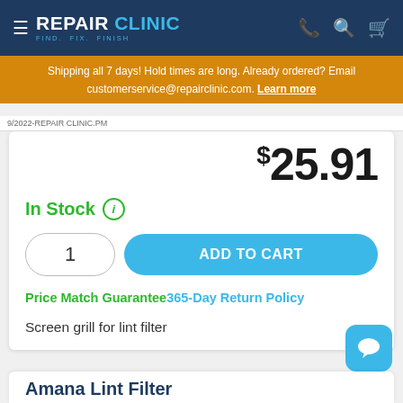REPAIR CLINIC — FIND. FIX. FINISH.
Shipping all 7 days! Hold times are long. Already ordered? Email customerservice@repairclinic.com. Learn more
$25.91
In Stock
1
ADD TO CART
Price Match Guarantee 365-Day Return Policy
Screen grill for lint filter
Amana Lint Filter